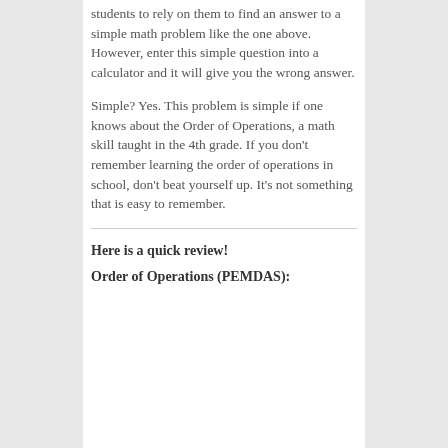students to rely on them to find an answer to a simple math problem like the one above. However, enter this simple question into a calculator and it will give you the wrong answer.
Simple? Yes. This problem is simple if one knows about the Order of Operations, a math skill taught in the 4th grade. If you don't remember learning the order of operations in school, don't beat yourself up. It's not something that is easy to remember.
Here is a quick review!
Order of Operations (PEMDAS):